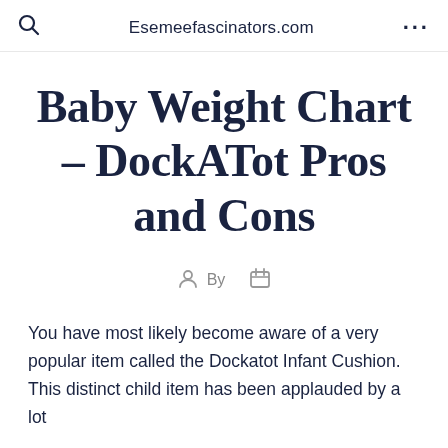Esemeefascinators.com
Baby Weight Chart – DockATot Pros and Cons
By
You have most likely become aware of a very popular item called the Dockatot Infant Cushion. This distinct child item has been applauded by a lot